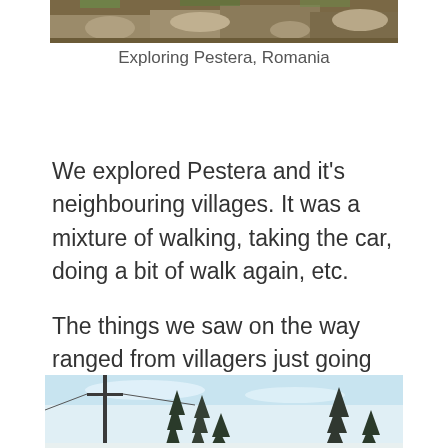[Figure (photo): Top portion of a photo showing rocky/earthy terrain, partially cropped at the top of the page]
Exploring Pestera, Romania
We explored Pestera and it's neighbouring villages. It was a mixture of walking, taking the car, doing a bit of walk again, etc.
The things we saw on the way ranged from villagers just going about their day, horses, cows and dogs.
[Figure (photo): Bottom portion of a photo showing a pale sky with silhouettes of trees and a utility pole, partially cropped at the bottom of the page]